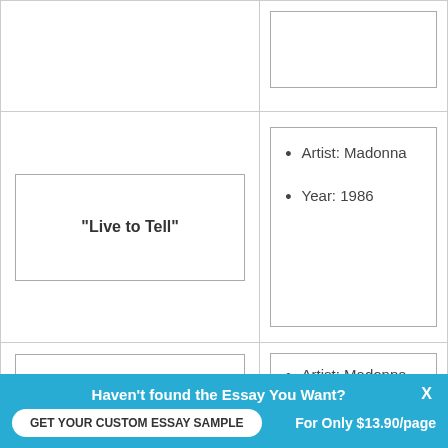[Figure (other): Top row partial — left cell with empty inner box, right cell with empty inner box (partially visible, cut off at top)]
“Live to Tell”
Artist: Madonna
Year: 1986
“Like a Prayer”
Artist: Madonna
Haven’t found the Essay You Want?
GET YOUR CUSTOM ESSAY SAMPLE
For Only $13.90/page
X